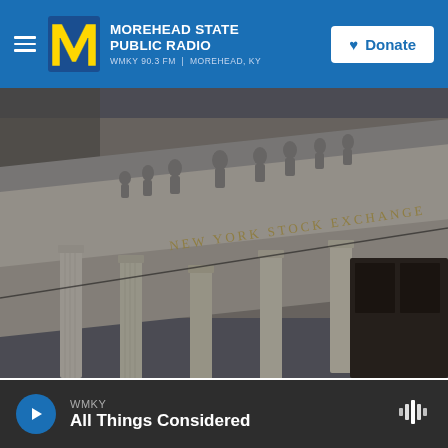Morehead State Public Radio — WMKY 90.3 FM | Morehead, KY — Donate
[Figure (photo): Architectural photograph of the New York Stock Exchange building facade, showing classical columns, ornate sculptural pediment with figures, and the words 'NEW YORK STOCK EXCHANGE' engraved in stone. Black and white / dark toned image shot from a low angle.]
Bryan R. Smith / AFP/Getty Images
WMKY
All Things Considered